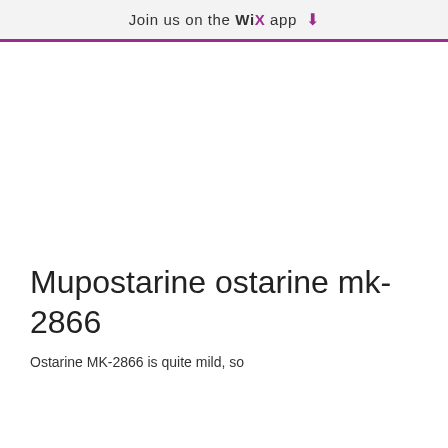Join us on the WiX app ↓
Mupostarine ostarine mk-2866
Ostarine MK-2866 is quite mild, so